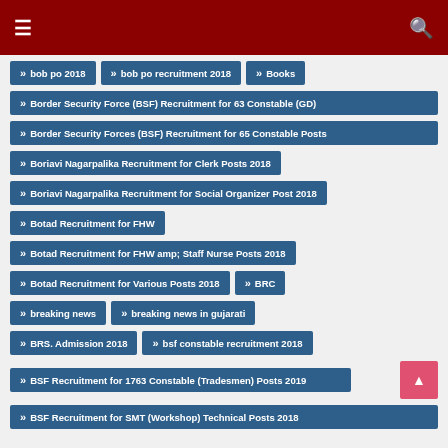≡ [menu] [search]
» bob po 2018
» bob po recruitment 2018
» Books
» Border Security Force (BSF) Recruitment for 63 Constable (GD)
» Border Security Forces (BSF) Recruitment for 65 Constable Posts
» Boriavi Nagarpalika Recruitment for Clerk Posts 2018
» Boriavi Nagarpalika Recruitment for Social Organizer Post 2018
» Botad Recruitment for FHW
» Botad Recruitment for FHW amp; Staff Nurse Posts 2018
» Botad Recruitment for Various Posts 2018
» BRC
» breaking news
» breaking news in gujarati
» BRS. Admission 2018
» bsf constable recruitment 2018
» BSF Recruitment for 1763 Constable (Tradesmen) Posts 2019
» BSF Recruitment for SMT (Workshop) Technical Posts 2018